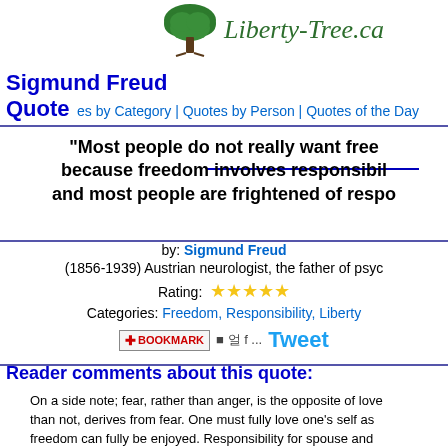[Figure (logo): Green oak tree logo with site name Liberty-Tree.ca in green italic serif font]
Sigmund Freud Quote
es by Category | Quotes by Person | Quotes of the Day
"Most people do not really want free because freedom involves responsibil and most people are frightened of respo
by: Sigmund Freud (1856-1939) Austrian neurologist, the father of psycho
Rating: ★★★★★
Categories: Freedom, Responsibility, Liberty
BOOKMARK Tweet
Reader comments about this quote:
On a side note; fear, rather than anger, is the opposite of love than not, derives from fear. One must fully love one's self as freedom can fully be enjoyed. Responsibility for spouse and of love. The same is true of our fellow man. Socialism and ce promote fear and duty (being false forms), such being avers of love and responsibility.
★★★★★ -- Mike, Norwalk